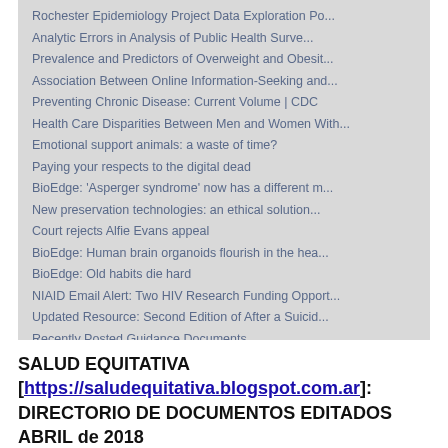Rochester Epidemiology Project Data Exploration Po...
Analytic Errors in Analysis of Public Health Surve...
Prevalence and Predictors of Overweight and Obesit...
Association Between Online Information-Seeking and...
Preventing Chronic Disease: Current Volume | CDC
Health Care Disparities Between Men and Women With...
Emotional support animals: a waste of time?
Paying your respects to the digital dead
BioEdge: 'Asperger syndrome' now has a different m...
New preservation technologies: an ethical solution...
Court rejects Alfie Evans appeal
BioEdge: Human brain organoids flourish in the hea...
BioEdge: Old habits die hard
NIAID Email Alert: Two HIV Research Funding Opport...
Updated Resource: Second Edition of After a Suicid...
Recently Posted Guidance Documents
Texas disability groups want a voice at the table ...
A Busy Week for the Supreme Court in FCA Matters
SALUD EQUITATIVA [https://saludequitativa.blogspot...
SALUD EQUITATIVA [https://saludequitativa.blogspot.com.ar]: DIRECTORIO DE DOCUMENTOS EDITADOS ABRIL de 2018
[*] ▲ SALUD EQUITATIVA · GESTIÓN EN SALUD